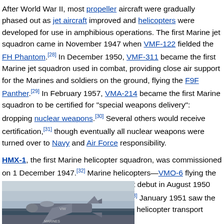After World War II, most propeller aircraft were gradually phased out as jet aircraft improved and helicopters were developed for use in amphibious operations. The first Marine jet squadron came in November 1947 when VMF-122 fielded the FH Phantom.[28] In December 1950, VMF-311 became the first Marine jet squadron used in combat, providing close air support for the Marines and soldiers on the ground, flying the F9F Panther.[29] In February 1957, VMA-214 became the first Marine squadron to be certified for "special weapons delivery": dropping nuclear weapons.[30] Several others would receive certification,[31] though eventually all nuclear weapons were turned over to Navy and Air Force responsibility.
HMX-1, the first Marine helicopter squadron, was commissioned on 1 December 1947.[32] Marine helicopters—VMO-6 flying the HO3S1 helicopter—made their combat debut in August 1950 during the Battle of Pusan Perimeter.[33] January 1951 saw the activation of HMR-161, the world's first helicopter transport squadron.[34]
[Figure (photo): Photograph of a military jet aircraft (appears to be a Marine jet), partially visible at bottom of page, with ocean/sky background.]